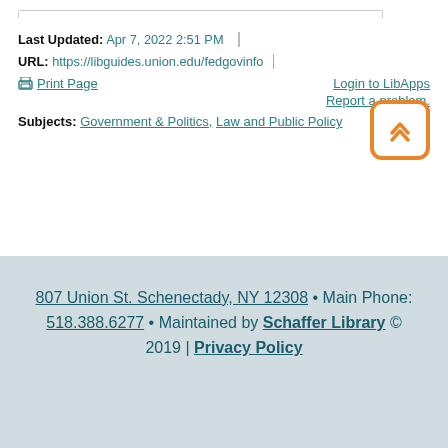Last Updated: Apr 7, 2022 2:51 PM
URL: https://libguides.union.edu/fedgovinfo
Print Page
Login to LibApps
Report a problem.
Subjects: Government & Politics, Law and Public Policy
807 Union St. Schenectady, NY 12308 • Main Phone: 518.388.6277 • Maintained by Schaffer Library © 2019 | Privacy Policy